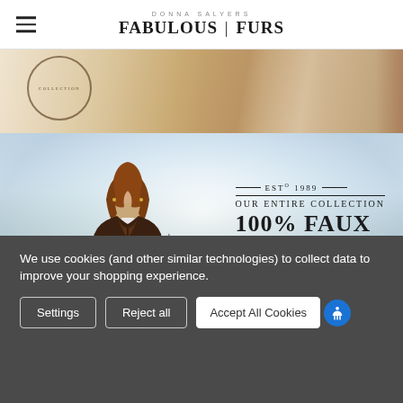DONNA SALYERS FABULOUS | FURS
[Figure (photo): Top strip image showing a desk with papers and a person's hands, with a circular stamp/seal overlay. Below: main hero image of a woman wearing a long dark faux fur coat in a snowy mountain setting, with text overlay reading EST 1989 OUR ENTIRE COLLECTION 100% FAUX]
Donna Salyers Fabulous-Furs Brand Overview
We use cookies (and other similar technologies) to collect data to improve your shopping experience.